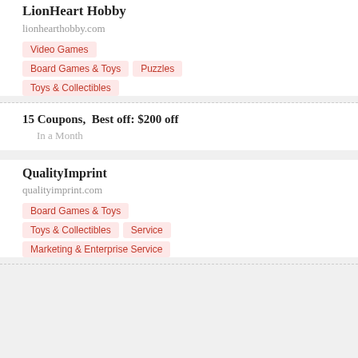LionHeart Hobby
lionhearthobby.com
Video Games
Board Games & Toys | Puzzles
Toys & Collectibles
15 Coupons,  Best off: $200 off
In a Month
QualityImprint
qualityimprint.com
Board Games & Toys
Toys & Collectibles | Service
Marketing & Enterprise Service